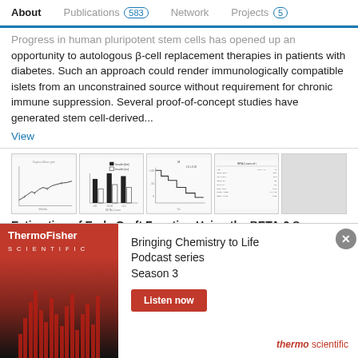About   Publications 583   Network   Projects 5
Progress in human pluripotent stem cells has opened up an opportunity to autologous β-cell replacement therapies in patients with diabetes. Such an approach could render immunologically compatible islets from an unconstrained source without requirement for chronic immune suppression. Several proof-of-concept studies have generated stem cell-derived...
View
[Figure (other): Four small scientific chart thumbnail images: line chart, bar chart, survival curve, and data table]
Estimation of Early Graft Function Using the BETA-2 Score Following Clinical Islet Transplantation
[Figure (other): ThermoFisher Scientific advertisement banner: Bringing Chemistry to Life Podcast series Season 3, with Listen now button and thermo scientific logo]